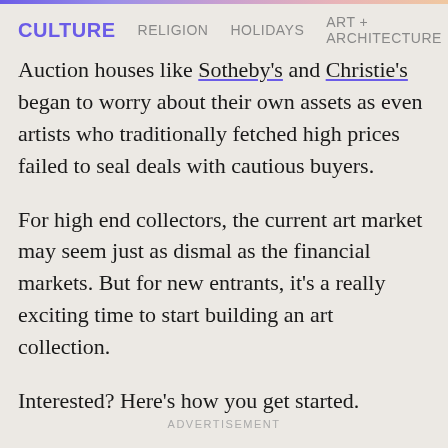CULTURE   RELIGION   HOLIDAYS   ART + ARCHITECTURE
Auction houses like Sotheby's and Christie's began to worry about their own assets as even artists who traditionally fetched high prices failed to seal deals with cautious buyers.
For high end collectors, the current art market may seem just as dismal as the financial markets. But for new entrants, it’s a really exciting time to start building an art collection.
Interested? Here’s how you get started.
ADVERTISEMENT